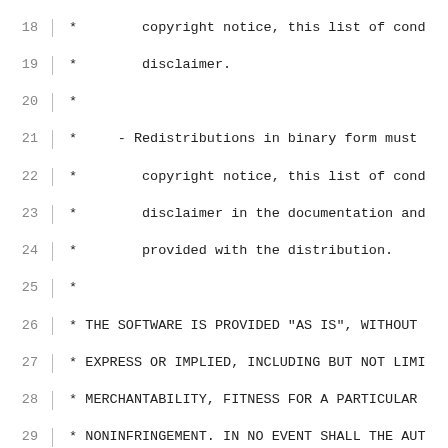Source code listing lines 18-47, showing a C file copyright comment block and include directives. Lines 18-34 show a BSD-style license disclaimer. Lines 36-39 include linux/delay.h, linux/moduleparam.h, linux/dma-mapping.h, linux/slab.h. Lines 41-42 include linux/ip.h, linux/tcp.h. Line 44 includes ipoib.h. Lines 46-47 show #ifdef CONFIG_INFINIBAND_IPOIB_DEBUG_DATA and static int data_debug_level;